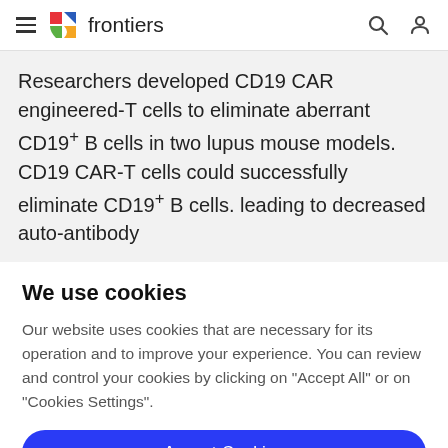frontiers
Researchers developed CD19 CAR engineered-T cells to eliminate aberrant CD19+ B cells in two lupus mouse models. CD19 CAR-T cells could successfully eliminate CD19+ B cells. leading to decreased auto-antibody
We use cookies
Our website uses cookies that are necessary for its operation and to improve your experience. You can review and control your cookies by clicking on "Accept All" or on "Cookies Settings".
Accept Cookies
Cookies Settings